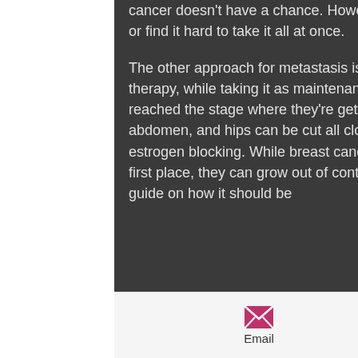taking estrogens for therapy because the cancer doesn't have a chance. However, some people don't like to take a med at once or find it hard to take it all at once.
The other approach for metastasis is to use sustanon while continuing the estrogen therapy, while taking it as maintenance therapy. For patients whose tumors have reached the stage where they're getting a double mastectomy (where your chest, abdomen, and hips can be cut all closed down) you may see some changes due to the estrogen blocking. While breast cancer tumors don't seem like the easiest to treat in the first place, they can grow out of control if you give them time. SuppVersity has a great guide on how it should be
[Figure (infographic): Footer bar with Email icon (envelope, pink/magenta) and Address icon (location pin, green), with labels 'Email' and 'Address']